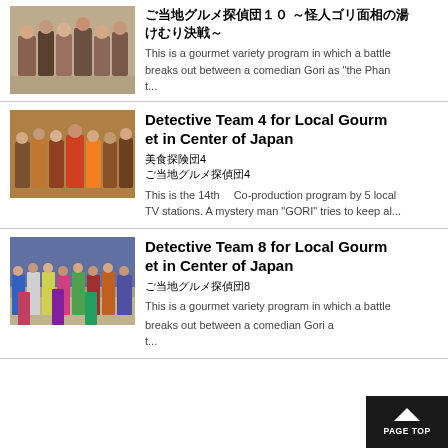[Figure (photo): Group photo of TV show cast for gourmet detective show]
ご当地グルメ探偵団１０ ～怪人ゴリ面相の湯けむり決戦～
This is a gourmet variety program in which a battle breaks out between a comedian Gori as "the Phant...
[Figure (photo): Group photo of cast for Detective Team 4 Local Gourmet show]
Detective Team 4 for Local Gourmet in Center of Japan
美食探険団4
ご当地グルメ探偵団4
This is the 14th　Co-production program by 5 local TV stations. A mystery man "GORI" tries to keep al...
[Figure (photo): Group photo of cast for Detective Team 8 Local Gourmet show]
Detective Team 8 for Local Gourmet in Center of Japan
ご当地グルメ探偵団8
This is a gourmet variety program in which a battle breaks out between a comedian Gori a...t...